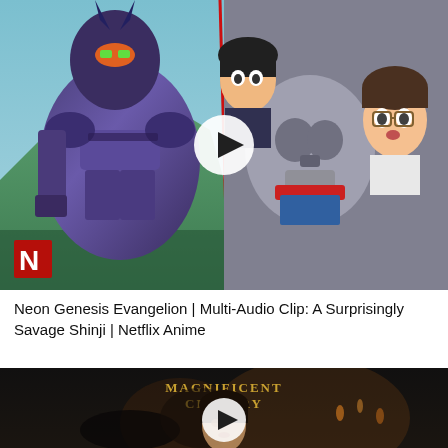[Figure (screenshot): Thumbnail for Neon Genesis Evangelion video: left side shows purple mecha robot (EVA Unit-01) in battle scene with Netflix anime logo, right side shows anime characters with shocked expressions, white play button circle overlaid in center]
Neon Genesis Evangelion | Multi-Audio Clip: A Surprisingly Savage Shinji | Netflix Anime
[Figure (screenshot): Thumbnail for Magnificent Century video: dark scene with 'MAGNIFICENT CENTURY' text in gold at top center, a woman's face partially visible in dim lighting, white play button circle overlaid]